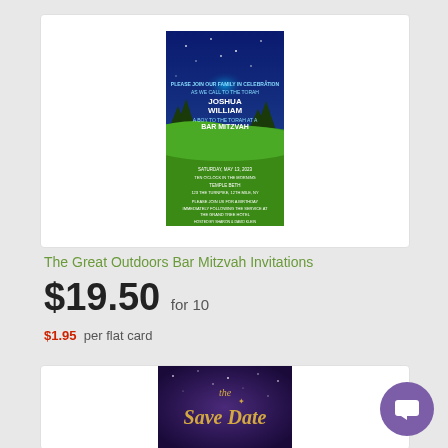[Figure (photo): Bar Mitzvah invitation card for Joshua William with outdoor/night sky theme, green rolling hills and starry blue sky background]
The Great Outdoors Bar Mitzvah Invitations
$19.50 for 10
$1.95 per flat card
[Figure (photo): Save the Date card with purple starry night background and gold script text]